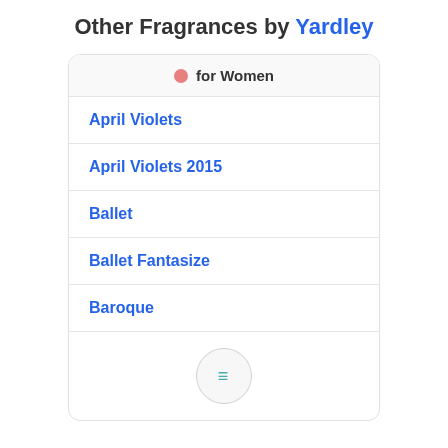Other Fragrances by Yardley
for Women
April Violets
April Violets 2015
Ballet
Ballet Fantasize
Baroque